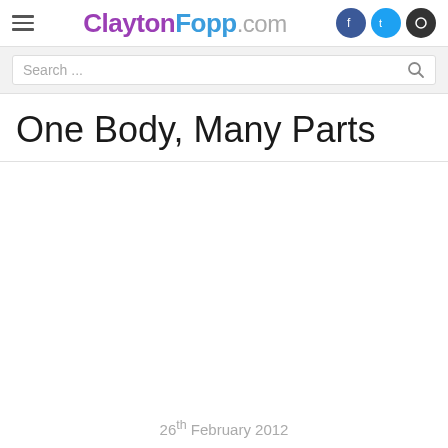ClaytonFopp.com
Search ...
One Body, Many Parts
26th February 2012